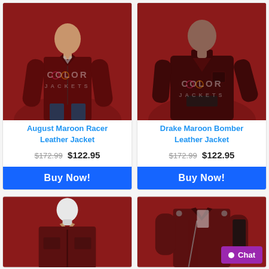[Figure (photo): Man wearing August Maroon Racer Leather Jacket on red background with COLOR JACKETS watermark]
[Figure (photo): Man wearing Drake Maroon Bomber Leather Jacket on red background with COLOR JACKETS watermark]
August Maroon Racer Leather Jacket
Drake Maroon Bomber Leather Jacket
$172.99 $122.95
$172.99 $122.95
Buy Now!
Buy Now!
[Figure (photo): Mannequin wearing maroon leather jacket on red background]
[Figure (photo): Woman wearing maroon leather jacket on red background]
Chat